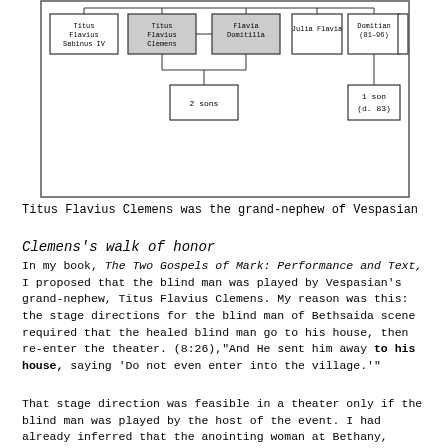[Figure (organizational-chart): Family tree/genealogy diagram showing Flavian dynasty connections. Boxes include: Titus Flavius Sabinus IV, Titus Flavius Clemens, Flavia Domitilla (shaded), Julia Flavia, Domitian (81-96), Domitia Longina, 2 sons, 1 son (d. 83). Connected by lines showing family relationships.]
Titus Flavius Clemens was the grand-nephew of Vespasian
Clemens's walk of honor
In my book, The Two Gospels of Mark: Performance and Text, I proposed that the blind man was played by Vespasian's grand-nephew, Titus Flavius Clemens. My reason was this: the stage directions for the blind man of Bethsaida scene required that the healed blind man go to his house, then re-enter the theater. (8:26),"And He sent him away to his house, saying 'Do not even enter into the village.'"
That stage direction was feasible in a theater only if the blind man was played by the host of the event. I had already inferred that the anointing woman at Bethany,